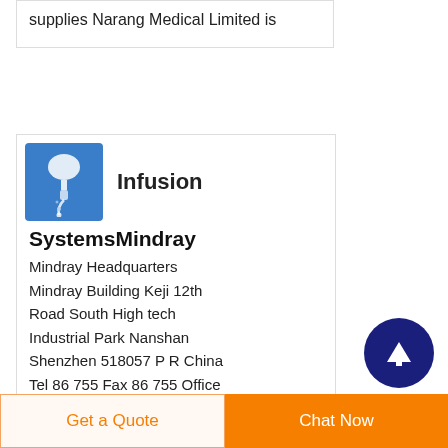supplies Narang Medical Limited is
[Figure (logo): Teal/blue background icon showing an infusion drip bag with tubing]
Infusion
SystemsMindray
Mindray Headquarters Mindray Building Keji 12th Road South High tech Industrial Park Nanshan Shenzhen 518057 P R China Tel 86 755 Fax 86 755 Office Email intl market mindray Service Email service mindray
[Figure (illustration): Dark navy circular button with white upward arrow icon]
Get a Quote
Chat Now